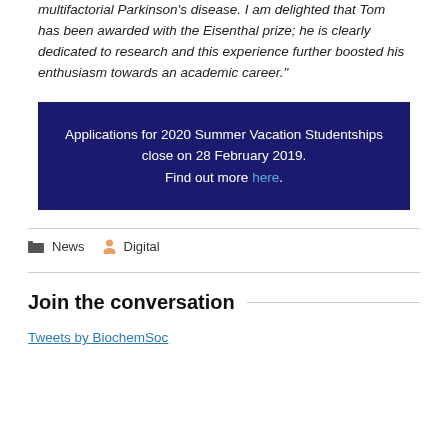multifactorial Parkinson's disease. I am delighted that Tom has been awarded with the Eisenthal prize; he is clearly dedicated to research and this experience further boosted his enthusiasm towards an academic career."
Applications for 2020 Summer Vacation Studentships close on 28 February 2019. Find out more here.
📁 News  👤 Digital
Join the conversation
Tweets by BiochemSoc